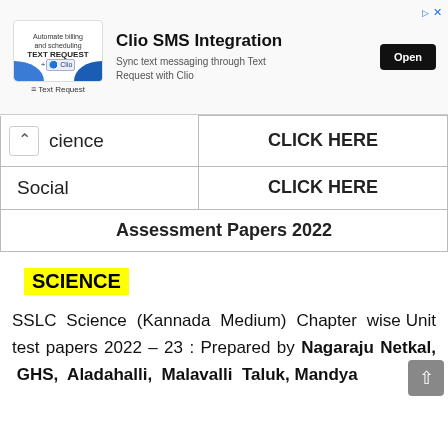[Figure (other): Advertisement banner for Clio SMS Integration — shows Text Request and Clio logos, 'Automate billing and scheduling' tagline, and an Open button]
| Science | CLICK HERE |
| Social | CLICK HERE |
| Assessment Papers 2022 |  |
SCIENCE
SSLC Science (Kannada Medium) Chapter wise Unit test papers 2022 – 23 : Prepared by Nagaraju Netkal, GHS, Aladahalli, Malavalli Taluk, Mandya